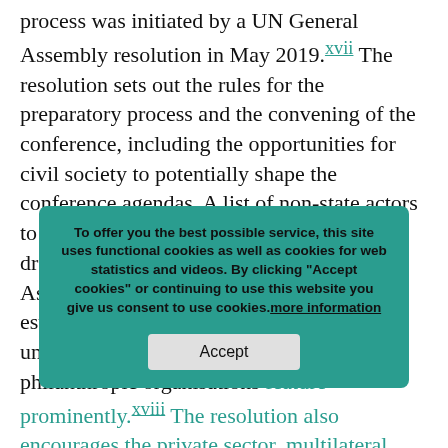process was initiated by a UN General Assembly resolution in May 2019.[xvii] The resolution sets out the rules for the preparatory process and the convening of the conference, including the opportunities for civil society to potentially shape the conference agendas. A list of non-state actors to be involved in key planning sessions was drawn up by the President of the General Assembly. Whereas this list excludes established social movement and labour unions, TNCs, banks, conservationist and philanthropic organisations feature prominently.[xviii] The resolution also encourages the private sector, multilateral institutions and donations… to support the preparatory Conference through voluntary contributions' as a means to plug the funding gap for the conference [xix]
Cookie overlay: To offer you the best possible service, this site uses functional cookies as well as cookies for web statistics and videos. By clicking "Accept cookies" or continuing to use this website you give us consent to use cookies. more information | Accept